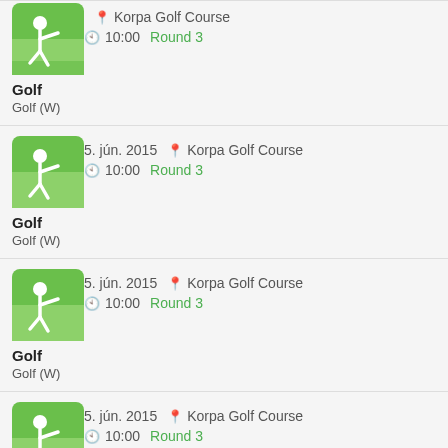Golf / Golf (W) | 5. jún. 2015 | 10:00 | Korpa Golf Course | Round 3
Golf / Golf (W) | 5. jún. 2015 | 10:00 | Korpa Golf Course | Round 3
Golf / Golf (W) | 5. jún. 2015 | 10:00 | Korpa Golf Course | Round 3
Golf / Golf (W) | 5. jún. 2015 | 10:00 | Korpa Golf Course | Round 3
Golf / Golf (W) | 5. jún. 2015 | 10:00 | Korpa Golf Course | Round 3